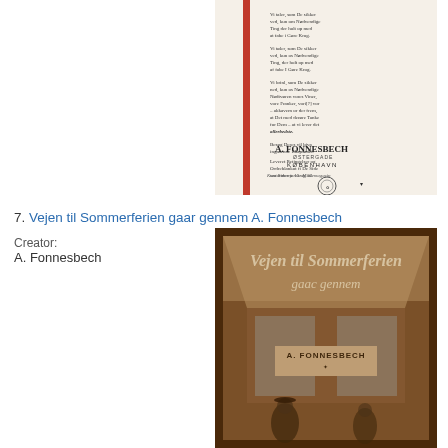[Figure (photo): A vintage advertisement page for A. Fonnesbech department store in Copenhagen. Features a vertical red stripe on the left side, Danish text in the upper right, and the company name 'A. FONNESBECH' with 'KØBENHAVN' (Copenhagen) below it along with a decorative seal/logo.]
7. Vejen til Sommerferien gaar gennem A. Fonnesbech
Creator:
A. Fonnesbech
[Figure (photo): A sepia-toned photograph of a storefront with large display windows. Cursive text reads 'Vejen til Sommerferien gaac gennem' and below in bold letters 'A. FONNESBECH'. People in period clothing (sailors/tourists) are visible in the lower portion of the image.]